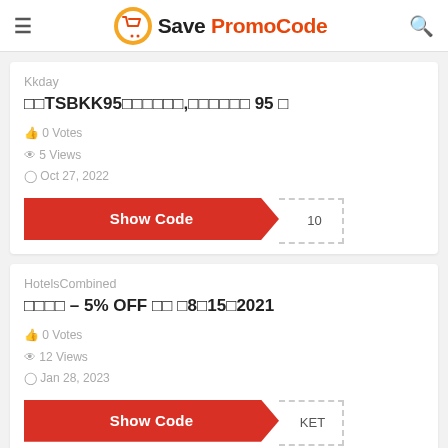Save PromoCode
Kkday
□□TSBKK95□□□□□□,□□□□□□ 95 □
0 Votes
5 Views
Oct 27, 2022
Show Code 10
HotelsCombined
□□□□ – 5% OFF □□ □8□15□2021
0 Votes
12 Views
Jan 28, 2023
Show Code KET